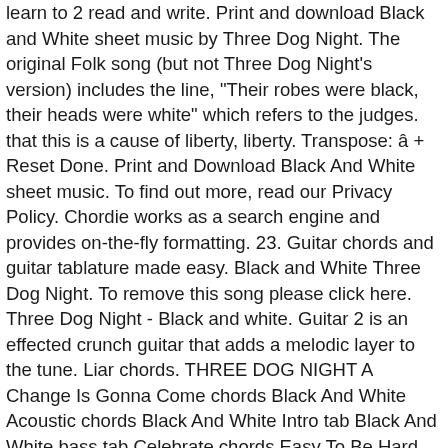learn to 2 read and write. Print and download Black and White sheet music by Three Dog Night. The original Folk song (but not Three Dog Night's version) includes the line, "Their robes were black, their heads were white" which refers to the judges. that this is a cause of liberty, liberty. Transpose: â + Reset Done. Print and Download Black And White sheet music. To find out more, read our Privacy Policy. Chordie works as a search engine and provides on-the-fly formatting. 23. Guitar chords and guitar tablature made easy. Black and White Three Dog Night. To remove this song please click here. Three Dog Night - Black and white. Guitar 2 is an effected crunch guitar that adds a melodic layer to the tune. Liar chords. THREE DOG NIGHT A Change Is Gonna Come chords Black And White Acoustic chords Black And White Intro tab Black And White bass tab Celebrate chords Easy To Be Hard Acoustic chords Easy To Be Hard bass tab Easy Evil chords Elis Comin chords Joy To The World bass tab Joy To The World bass Solo tab Joy To The World intro tab adunit_id: 100000049, They scored three number one singles: Mama Told Me (Not to Come), Joy to the World and Black and White.